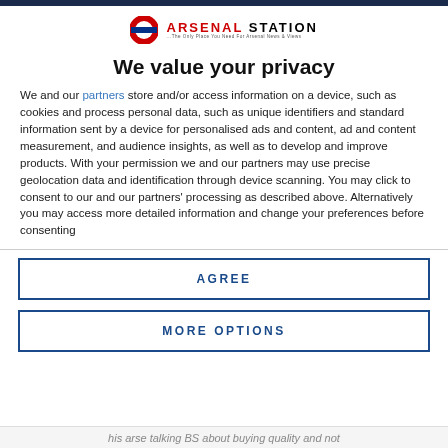[Figure (logo): Arsenal Station website logo with London Underground roundel icon and site name in red/black with tagline]
We value your privacy
We and our partners store and/or access information on a device, such as cookies and process personal data, such as unique identifiers and standard information sent by a device for personalised ads and content, ad and content measurement, and audience insights, as well as to develop and improve products. With your permission we and our partners may use precise geolocation data and identification through device scanning. You may click to consent to our and our partners' processing as described above. Alternatively you may access more detailed information and change your preferences before consenting
AGREE
MORE OPTIONS
his arse talking BS about buying quality and not